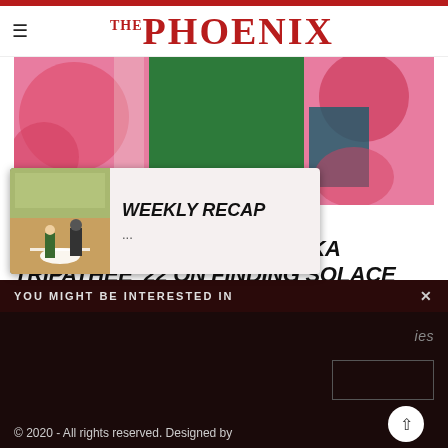THE PHOENIX
[Figure (photo): Close-up photo of a person wearing a green textured top and a colorful pink/red patterned kimono-style jacket, standing outdoors near a building with a lamp post.]
April 7, 2022
ARTIST OF THE WEEK SIDHIKA TRIPATHEE '22 ON FINDING SOLACE THROUGH CRAFT
YOU MIGHT BE INTERESTED IN
[Figure (photo): Baseball game photo showing a player sliding into home plate with an umpire watching.]
WEEKLY RECAP
...
© 2020 - All rights reserved. Designed by